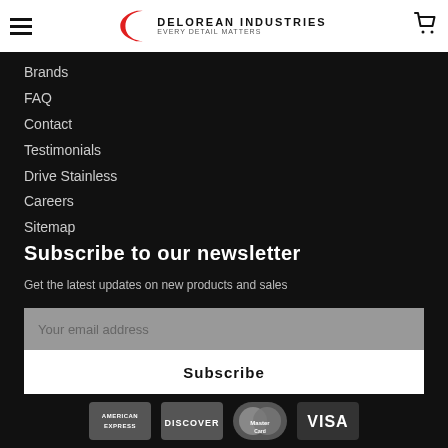DeLorean Industries — Every Detail Matters
Brands
FAQ
Contact
Testimonials
Drive Stainless
Careers
Sitemap
Subscribe to our newsletter
Get the latest updates on new products and sales
Your email address
Subscribe
[Figure (other): Payment icons: American Express, Discover, MasterCard, Visa]